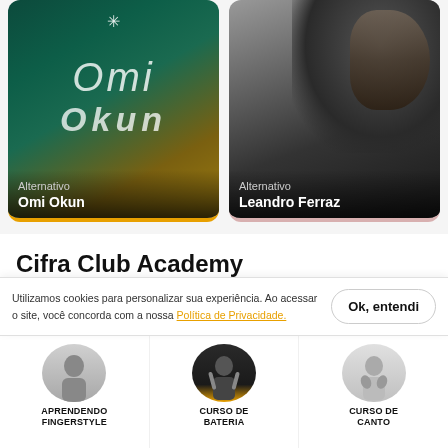[Figure (photo): Album/artist card for Omi Okun with dark teal mystical artwork showing symbols and text 'Omi Okun', genre label 'Alternativo']
[Figure (photo): Artist card for Leandro Ferraz showing a dark moody portrait photo of a man with long hair, genre label 'Alternativo']
Cifra Club Academy
O ensino de música que cabe no seu tempo e no seu bolso!
Utilizamos cookies para personalizar sua experiência. Ao acessar o site, você concorda com a nossa Política de Privacidade.
[Figure (photo): Course thumbnail: APRENDENDO FINGERSTYLE - person silhouette]
[Figure (photo): Course thumbnail: CURSO DE BATERIA - person with drum sticks]
[Figure (photo): Course thumbnail: CURSO DE CANTO - person singing]
APRENDENDO FINGERSTYLE
CURSO DE BATERIA
CURSO DE CANTO